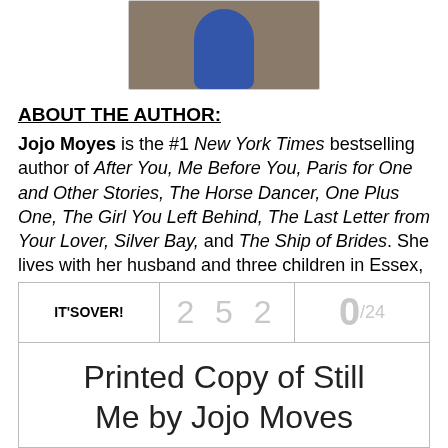[Figure (photo): Author photo of Jojo Moyes wearing a blue jacket, standing in front of a wooden background]
ABOUT THE AUTHOR:
Jojo Moyes is the #1 New York Times bestselling author of After You, Me Before You, Paris for One and Other Stories, The Horse Dancer, One Plus One, The Girl You Left Behind, The Last Letter from Your Lover, Silver Bay, and The Ship of Brides. She lives with her husband and three children in Essex, England.
| IT'S OVER! | 252 | 0/24 |
| --- | --- | --- |
| Printed Copy of Still Me by Jojo Moves |  |  |
Printed Copy of Still Me by Jojo Moves